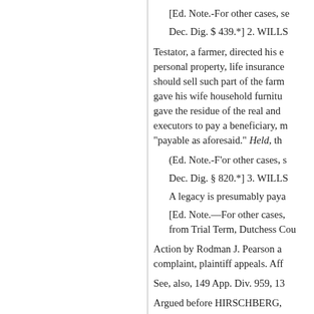[Ed. Note.-For other cases, se
Dec. Dig. $ 439.*] 2. WILLS
Testator, a farmer, directed his e personal property, life insurance should sell such part of the farm gave his wife household furnitu gave the residue of the real and executors to pay a beneficiary, m "payable as aforesaid." Held, th
(Ed. Note.-F'or other cases, s
Dec. Dig. § 820.*] 3. WILLS
A legacy is presumably paya
[Ed. Note.—For other cases, from Trial Term, Dutchess Cou
Action by Rodman J. Pearson a complaint, plaintiff appeals. Aff
See, also, 149 App. Div. 959, 13
Argued before HIRSCHBERG,
Ralph Hickox, of New Yor